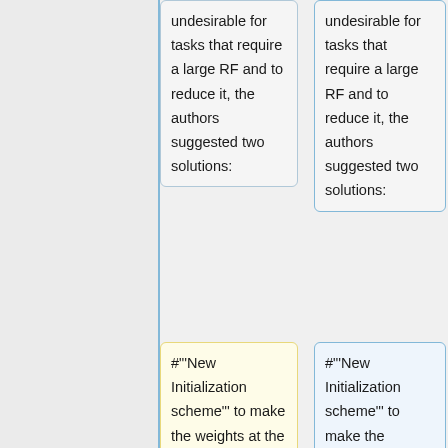undesirable for tasks that require a large RF and to reduce it, the authors suggested two solutions:
undesirable for tasks that require a large RF and to reduce it, the authors suggested two solutions:
#"'New Initialization scheme"' to make the weights at the center of the convolution kernel to be smaller and the weights on the outside larger, which diffuses the concentration on the center out to the periphery.
#"'New Initialization scheme"' to make the weights at the center of the convolution kernel to be smaller and the weights on the outside larger, which diffuses the concentration on the center out to the periphery.